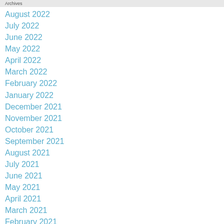Archives
August 2022
July 2022
June 2022
May 2022
April 2022
March 2022
February 2022
January 2022
December 2021
November 2021
October 2021
September 2021
August 2021
July 2021
June 2021
May 2021
April 2021
March 2021
February 2021
January 2021
December 2020